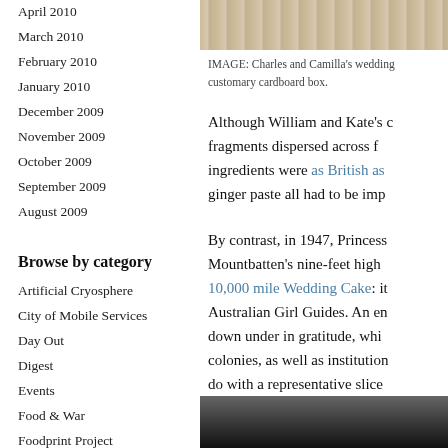April 2010
March 2010
February 2010
January 2010
December 2009
November 2009
October 2009
September 2009
August 2009
Browse by category
Artificial Cryosphere
City of Mobile Services
Day Out
Digest
Events
Food & War
Foodprint Project
Gastropod
[Figure (photo): Top portion of an image showing Charles and Camilla's wedding cake in a cardboard box]
IMAGE: Charles and Camilla's wedding customary cardboard box.
Although William and Kate's c... fragments dispersed across f... ingredients were as British as... ginger paste all had to be imp...
By contrast, in 1947, Princess... Mountbatten's nine-feet high 10,000 mile Wedding Cake: it... Australian Girl Guides. An en... down under in gratitude, whi... colonies, as well as institution... do with a representative slice...
[Figure (photo): Black and white photograph at bottom of page]